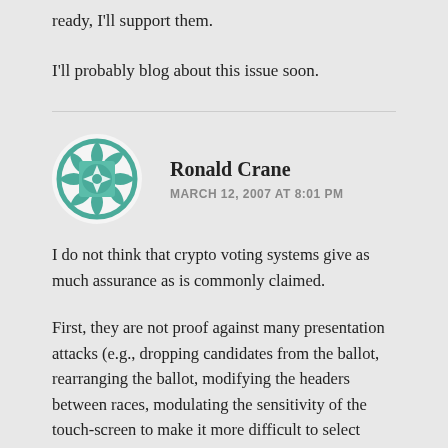ready, I'll support them.
I'll probably blog about this issue soon.
Ronald Crane
MARCH 12, 2007 AT 8:01 PM
I do not think that crypto voting systems give as much assurance as is commonly claimed.
First, they are not proof against many presentation attacks (e.g., dropping candidates from the ballot, rearranging the ballot, modifying the headers between races, modulating the sensitivity of the touch-screen to make it more difficult to select certain candidates...) nor against delay- or denial-